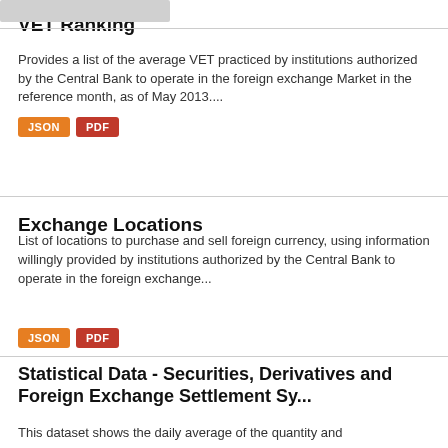VET Ranking
Provides a list of the average VET practiced by institutions authorized by the Central Bank to operate in the foreign exchange Market in the reference month, as of May 2013....
Exchange Locations
List of locations to purchase and sell foreign currency, using information willingly provided by institutions authorized by the Central Bank to operate in the foreign exchange...
Statistical Data - Securities, Derivatives and Foreign Exchange Settlement Sy...
This dataset shows the daily average of the quantity and